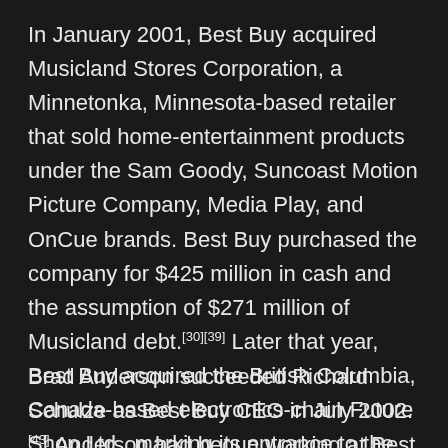In January 2001, Best Buy acquired Musicland Stores Corporation, a Minnetonka, Minnesota-based retailer that sold home-entertainment products under the Sam Goody, Suncoast Motion Picture Company, Media Play, and OnCue brands. Best Buy purchased the company for $425 million in cash and the assumption of $271 million of Musicland debt.[30][39] Later that year, Best Buy acquired the British Columbia, Canada-based electronics-chain Future Shop Ltd., marking its entrance to the international marketplace.[30][40] Under the deal, Future Shop was purchased for about US$377 million and continued to operate as subsidiary independent from Best Buy Canada.[41][42]
Brad Anderson succeeded Richard Schulze as Best Buy CEO in July 2002.[43] Anderson had begun working at Best Buy in 1973. His accomplishments...